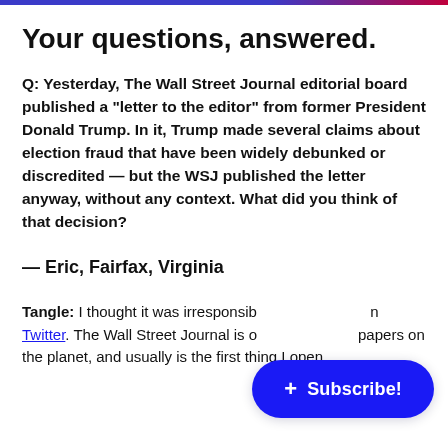Your questions, answered.
Q: Yesterday, The Wall Street Journal editorial board published a "letter to the editor" from former President Donald Trump. In it, Trump made several claims about election fraud that have been widely debunked or discredited — but the WSJ published the letter anyway, without any context. What did you think of that decision?
— Eric, Fairfax, Virginia
Tangle: I thought it was irresponsib[le and I said so on] Twitter. The Wall Street Journal is o[ne of the great] papers on the planet, and usually is the first thing I open